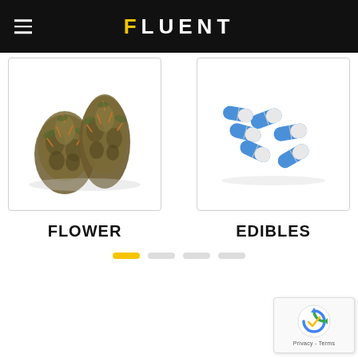FLUENT
[Figure (photo): Cannabis flower buds on white background]
FLOWER
[Figure (photo): Blue and white capsule pills on white background]
EDIBLES
[Figure (other): Pagination indicator dots: first dot active (yellow), three inactive (gray)]
[Figure (other): reCAPTCHA badge with Google reCAPTCHA icon and Privacy - Terms text]